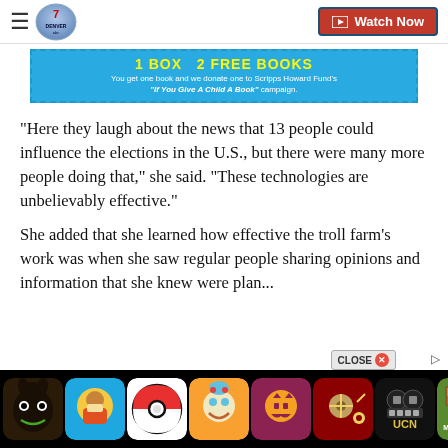Denver 7 - Watch Now
[Figure (screenshot): Advertisement banner: 1 BOX = 2 FREE BOOKS. You get one book and we donate one to Scripps Howard Fund's "If You Give A Child A Book" campaign.]
"Here they laugh about the news that 13 people could influence the elections in the U.S., but there were many more people doing that," she said. "These technologies are unbelievably effective."
She added that she learned how effective the troll farm's work was when she saw regular people sharing opinions and information that she knew were plan...
[Figure (screenshot): Bottom strip of mobile game app icons including Bendy and the Ink Machine, Subway Surfers, Pokemon, Toca Boca, a Halloween game, a shooting game, UCN (Ultimate Custom Night), and Minecraft.]